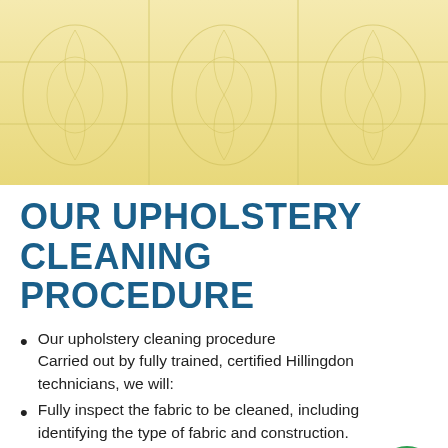[Figure (photo): Close-up photo of cream/yellow upholstery fabric with circular floral patterns, showing fold lines across the fabric surface.]
OUR UPHOLSTERY CLEANING PROCEDURE
Our upholstery cleaning procedure Carried out by fully trained, certified Hillingdon technicians, we will:
Fully inspect the fabric to be cleaned, including identifying the type of fabric and construction.
Identify the extent of the soil, stains and odours